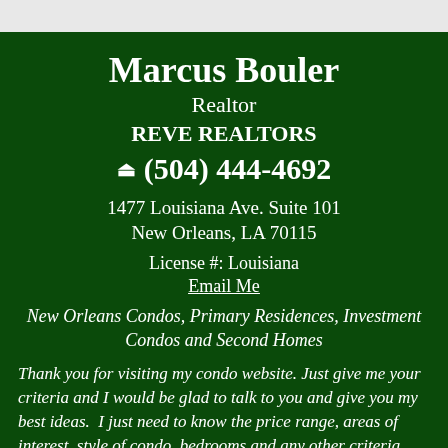Marcus Bouler
Realtor
REVE REALTORS
(504) 444-4692
1477 Louisiana Ave. Suite 101
New Orleans, LA 70115
License #: Louisiana
Email Me
New Orleans Condos, Primary Residences, Investment Condos and Second Homes
Thank you for visiting my condo website. Just give me your criteria and I would be glad to talk to you and give you my best ideas.  I just need to know the price range, areas of interest, style of condo, bedrooms and any other criteria that you wish to ask about.